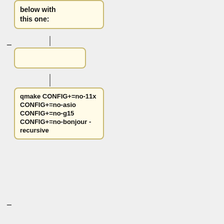below with this one:
qmake CONFIG+=no-11x CONFIG+=no-asio CONFIG+=no-g15 CONFIG+=no-bonjour -recursive
To compile Mumble with Mumble 1.1.x, replace the